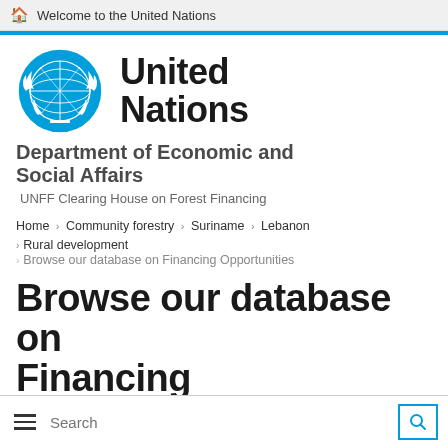Welcome to the United Nations
[Figure (logo): United Nations emblem — blue globe with olive branches]
United Nations
Department of Economic and Social Affairs
UNFF Clearing House on Forest Financing
Home › Community forestry › Suriname › Lebanon › Rural development
› Browse our database on Financing Opportunities
Browse our database on Financing Opportunities